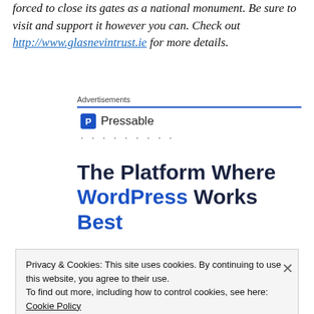forced to close its gates as a national monument. Be sure to visit and support it however you can. Check out http://www.glasnevintrust.ie for more details.
Advertisements
[Figure (logo): Pressable logo with blue P icon and text 'Pressable' followed by dotted loading indicator]
The Platform Where WordPress Works Best
Privacy & Cookies: This site uses cookies. By continuing to use this website, you agree to their use. To find out more, including how to control cookies, see here: Cookie Policy